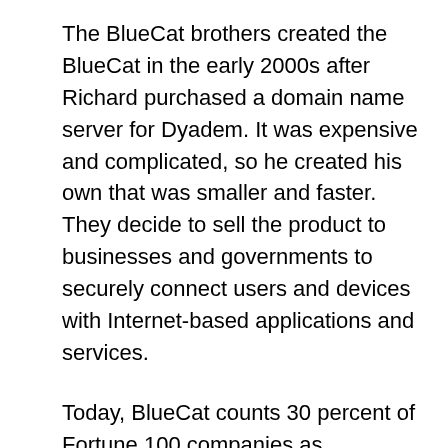The BlueCat brothers created the BlueCat in the early 2000s after Richard purchased a domain name server for Dyadem. It was expensive and complicated, so he created his own that was smaller and faster. They decide to sell the product to businesses and governments to securely connect users and devices with Internet-based applications and services.
Today, BlueCat counts 30 percent of Fortune 100 companies as customers. It has over $100 million in annual revenue, over 400 employees and is profitable. BlueCat has expanded its sales by 20 percent annually since 2017.
“This market is in a lot of turmoil,” BlueCat CEO Stephen DeVito told The Globe and Mail. But also